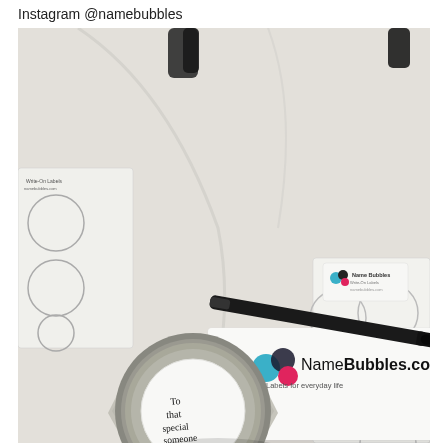Instagram @namebubbles
[Figure (photo): A top-down photo on a white cloth surface showing: a glass hexagonal jar with a white circular write-on label handwritten 'To that special someone', a Name Bubbles packaging card with logo and NameBubbles.com text, sheets of write-on circular labels, and a black marker pen. The Name Bubbles card shows the colorful bubble logo and tagline 'Labels for everyday life'.]